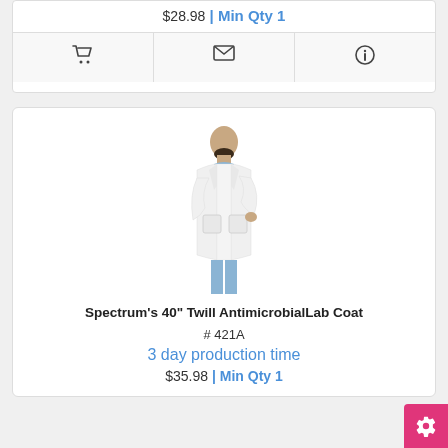$28.98 | Min Qty 1
[Figure (other): Icon bar with shopping cart, envelope, and info icons]
[Figure (photo): Man wearing a white lab coat over blue scrubs, facing slightly to the side]
Spectrum's 40" Twill AntimicrobialLab Coat
# 421A
3 day production time
$35.98 | Min Qty 1